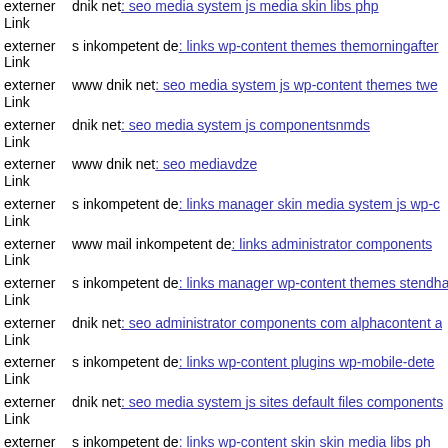externer Link | dnik net: seo media system js media skin libs php
externer Link | s inkompetent de: links wp-content themes themorningafter
externer Link | www dnik net: seo media system js wp-content themes twe
externer Link | dnik net: seo media system js componentsnmds
externer Link | www dnik net: seo mediavdze
externer Link | s inkompetent de: links manager skin media system js wp-c
externer Link | www mail inkompetent de: links administrator components
externer Link | s inkompetent de: links manager wp-content themes stendha
externer Link | dnik net: seo administrator components com alphacontent a
externer Link | s inkompetent de: links wp-content plugins wp-mobile-dete
externer Link | dnik net: seo media system js sites default files components
externer Link | s inkompetent de: links wp-content skin skin media libs ph